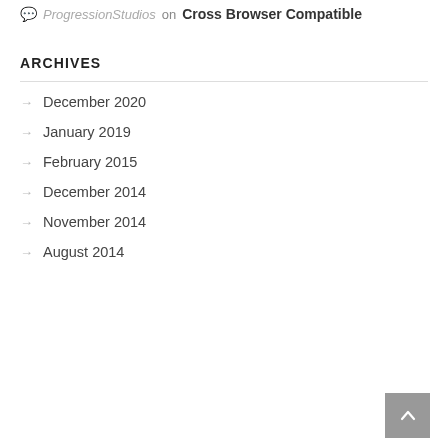ProgressionStudios on Cross Browser Compatible
ARCHIVES
December 2020
January 2019
February 2015
December 2014
November 2014
August 2014